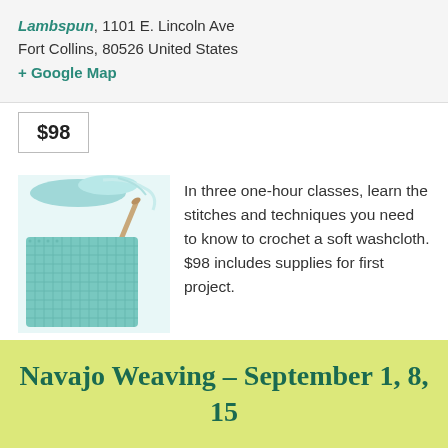Lambspun, 1101 E. Lincoln Ave Fort Collins, 80526 United States + Google Map
$98
[Figure (photo): Photo of a teal crochet washcloth swatch with a crochet hook and yarn]
In three one-hour classes, learn the stitches and techniques you need to know to crochet a soft washcloth. $98 includes supplies for first project.
Find out more »
Navajo Weaving – September 1, 8, 15